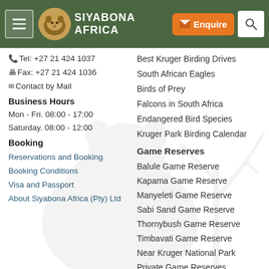Siyabona Africa — navigation header with menu, logo, enquire button, search
Tel: +27 21 424 1037
Fax: +27 21 424 1036
Contact by Mail
Business Hours
Mon - Fri. 08:00 - 17:00
Saturday. 08:00 - 12:00
Booking
Reservations and Booking
Booking Conditions
Visa and Passport
About Siyabona Africa (Pty) Ltd
Best Kruger Birding Drives
South African Eagles
Birds of Prey
Falcons in South Africa
Endangered Bird Species
Kruger Park Birding Calendar
Game Reserves
Balule Game Reserve
Kapama Game Reserve
Manyeleti Game Reserve
Sabi Sand Game Reserve
Thornybush Game Reserve
Timbavati Game Reserve
Near Kruger National Park
Private Game Reserves
Birding in Kruger Park